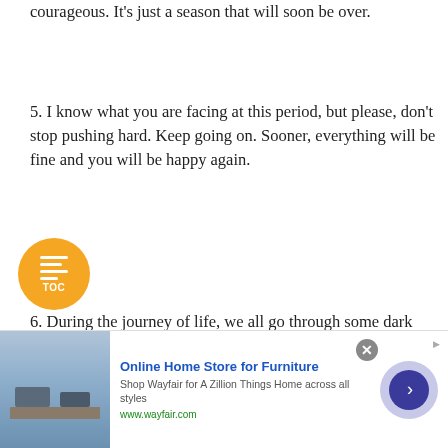courageous. It's just a season that will soon be over.
5. I know what you are facing at this period, but please, don't stop pushing hard. Keep going on. Sooner, everything will be fine and you will be happy again.
6. During the journey of life, we all go through some dark moments. But I want to know that I'm here for you. Tough s don't last. Remain tough, friend.
[Figure (other): Orange circular TOC (Table of Contents) button with horizontal lines icon and 'TOC' label]
[Figure (other): Advertisement banner for Wayfair Online Home Store for Furniture with furniture image, close button, and navigation arrow]